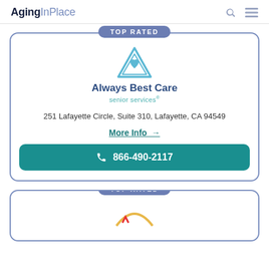AgingInPlace
[Figure (logo): Always Best Care senior services logo with triangle/heart icon]
251 Lafayette Circle, Suite 310, Lafayette, CA 94549
More Info →
866-490-2117
TOP RATED (second card, partially visible)